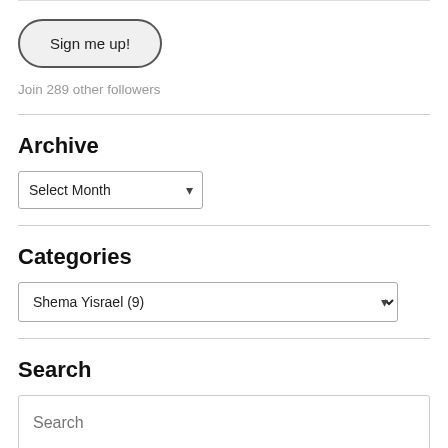Sign me up!
Join 289 other followers
Archive
Select Month
Categories
Shema Yisrael  (9)
Search
Search